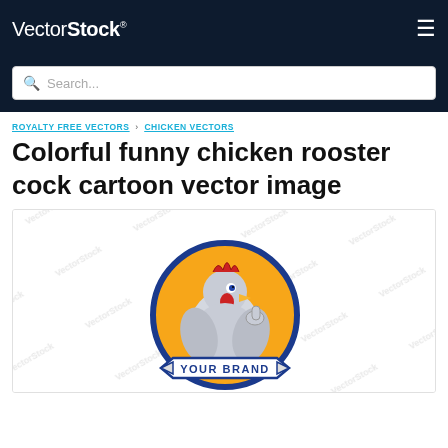VectorStock®
Search...
ROYALTY FREE VECTORS › CHICKEN VECTORS
Colorful funny chicken rooster cock cartoon vector image
[Figure (illustration): A colorful cartoon chicken rooster mascot logo illustration. The rooster is shown giving a thumbs up, set against an orange circular background with a blue circular border. A banner ribbon at the bottom reads 'YOUR BRAND'. The image has VectorStock watermarks tiled across it.]